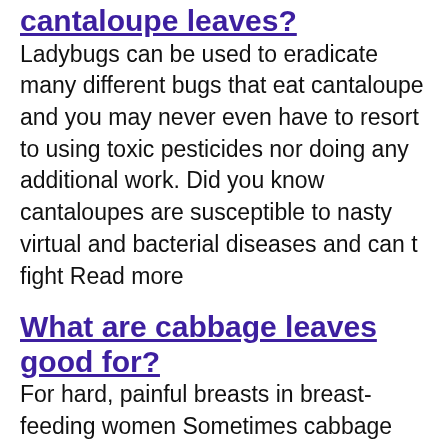cantaloupe leaves?
Ladybugs can be used to eradicate many different bugs that eat cantaloupe and you may never even have to resort to using toxic pesticides nor doing any additional work. Did you know cantaloupes are susceptible to nasty virtual and bacterial diseases and can t fight Read more
What are cabbage leaves good for?
For hard, painful breasts in breast-feeding women Sometimes cabbage leaves are prepared by stripping out the large vein of the